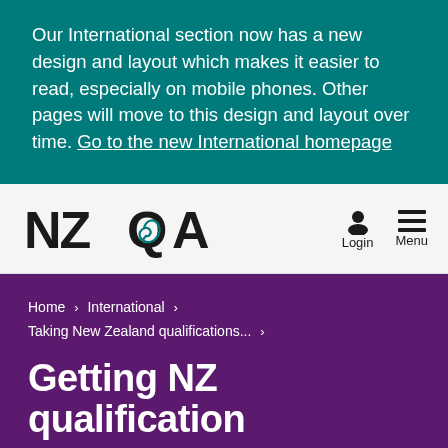Our International section now has a new design and layout which makes it easier to read, especially on mobile phones. Other pages will move to this design and layout over time. Go to the new International homepage
[Figure (logo): NZQA logo with teal swirl inside the Q letter, black bold text]
Login
Menu
Home › International › Taking New Zealand qualifications... ›
Getting NZ qualification